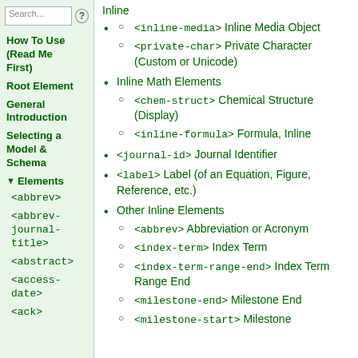<inline-media> Inline Media Object
<private-char> Private Character (Custom or Unicode)
Inline Math Elements
<chem-struct> Chemical Structure (Display)
<inline-formula> Formula, Inline
<journal-id> Journal Identifier
<label> Label (of an Equation, Figure, Reference, etc.)
Other Inline Elements
<abbrev> Abbreviation or Acronym
<index-term> Index Term
<index-term-range-end> Index Term Range End
<milestone-end> Milestone End
<milestone-start> Milestone